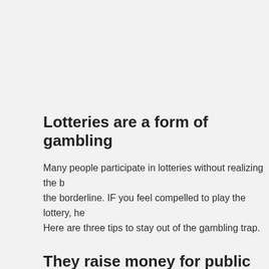Lotteries are a form of gambling
Many people participate in lotteries without realizing the borderline. IF you feel compelled to play the lottery, here are three tips to stay out of the gambling trap.
They raise money for public projects
While lottery revenue does generate significant money for the need to spend more and the need to raise revenue. The to come from somewhere else. That's where the lottery c